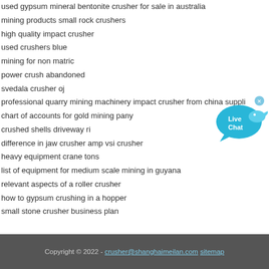used gypsum mineral bentonite crusher for sale in australia
mining products small rock crushers
high quality impact crusher
used crushers blue
mining for non matric
power crush abandoned
svedala crusher oj
professional quarry mining machinery impact crusher from china suppli
chart of accounts for gold mining pany
crushed shells driveway ri
difference in jaw crusher amp vsi crusher
heavy equipment crane tons
list of equipment for medium scale mining in guyana
relevant aspects of a roller crusher
how to gypsum crushing in a hopper
small stone crusher business plan
Copyright © 2022 - crusher@shanghaimeilan.com sitemap